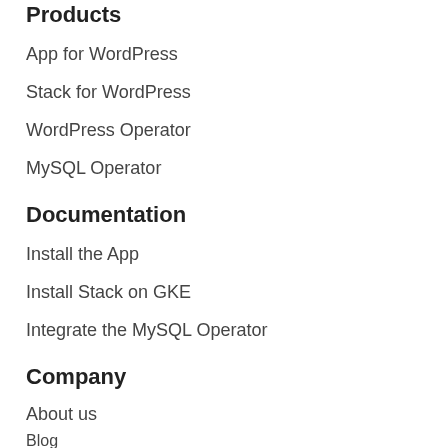Products
App for WordPress
Stack for WordPress
WordPress Operator
MySQL Operator
Documentation
Install the App
Install Stack on GKE
Integrate the MySQL Operator
Company
About us
Blog
Contact